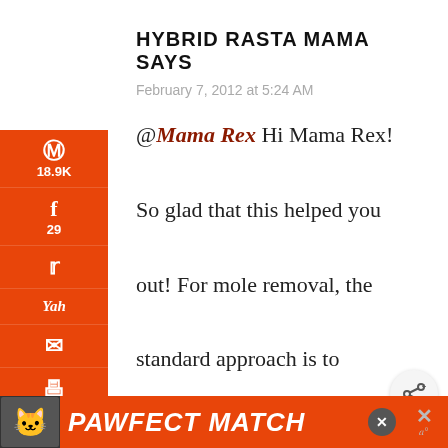HYBRID RASTA MAMA SAYS
February 7, 2012 at 5:24 AM
@Mama Rex Hi Mama Rex!

So glad that this helped you out! For mole removal, the standard approach is to leave the vinegar on overnight. Soak the
[Figure (infographic): PAWFECT MATCH advertisement banner with cat image at bottom of page]